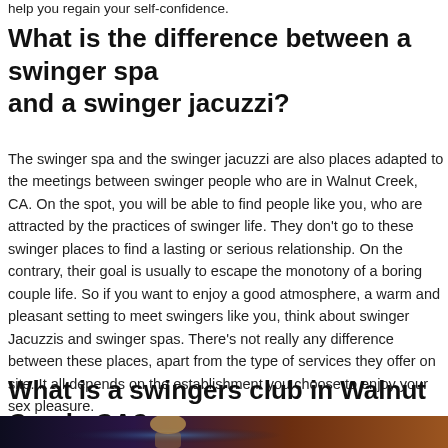help you regain your self-confidence.
What is the difference between a swinger spa and a swinger jacuzzi?
The swinger spa and the swinger jacuzzi are also places adapted to the meetings between swinger people who are in Walnut Creek, CA. On the spot, you will be able to find people like you, who are attracted by the practices of swinger life. They don't go to these swinger places to find a lasting or serious relationship. On the contrary, their goal is usually to escape the monotony of a boring couple life. So if you want to enjoy a good atmosphere, a warm and pleasant setting to meet swingers like you, think about swinger Jacuzzis and swinger spas. There's not really any difference between these places, apart from the type of services they offer on site. It all depends on the establishment you choose to enjoy your sex pleasure.
What is a swingers club in Walnut Creek, CA?
[Figure (photo): Dark photo showing a person with blonde hair against a dark blue/brown background]